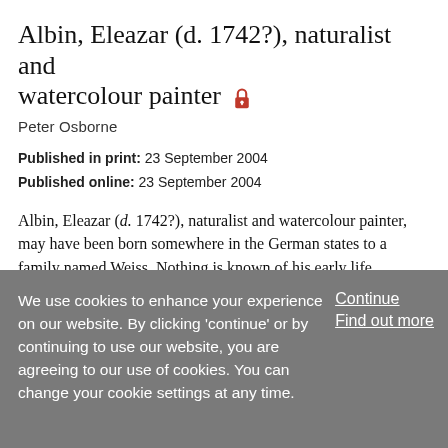Article
Albin, Eleazar (d. 1742?), naturalist and watercolour painter 🔒
Peter Osborne
Published in print: 23 September 2004
Published online: 23 September 2004
Albin, Eleazar (d. 1742?), naturalist and watercolour painter, may have been born somewhere in the German states to a family named Weiss. Nothing is known of his early life, although he later claimed, in his Natural History of Birds (1731–8), to have been '...
We use cookies to enhance your experience on our website. By clicking 'continue' or by continuing to use our website, you are agreeing to our use of cookies. You can change your cookie settings at any time.